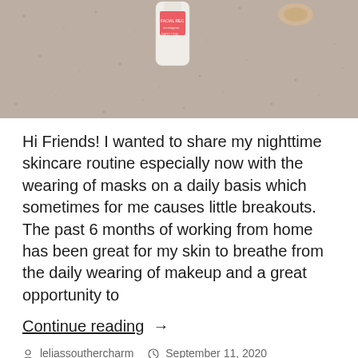[Figure (photo): Photo of skincare products on a beige/taupe carpet background. A white bottle (facial product) is visible in the upper center area.]
Hi Friends! I wanted to share my nighttime skincare routine especially now with the wearing of masks on a daily basis which sometimes for me causes little breakouts. The past 6 months of working from home has been great for my skin to breathe from the daily wearing of makeup and a great opportunity to
Continue reading  →
leliassouthercharm   September 11, 2020
Beauty
#aboutme, #lelias, #ltkcurves, blog post,